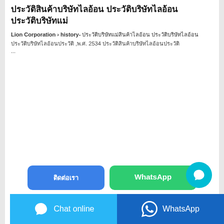ประวัติสินค้าบริษัทไลอ้อน ประวัติบริษัทไลอ้อน
Lion Corporation › history- ประวัติบริษัทแม่สินค้าไลอ้อน ประวัติบริษัทไลอ้อน ,พ.ศ. 2534 ประวัติสินค้าบริษัทไลอ้อน ...
[Figure (screenshot): Two buttons: a blue button with Thai text and a green WhatsApp button]
pre[Thai text link]next [Thai text link] jabalpur uk [Thai text partial]
[Figure (screenshot): Bottom bar with Chat online button (light blue) and WhatsApp button (dark blue)]